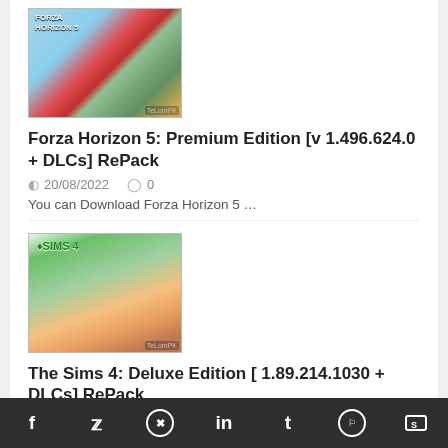[Figure (illustration): Forza Horizon 5 game cover art thumbnail showing racing cars and colorful landscape]
Forza Horizon 5: Premium Edition [v 1.496.624.0 + DLCs] RePack
20/08/2022   0
You can Download Forza Horizon 5 …
[Figure (illustration): The Sims 4 game cover art thumbnail showing colorful characters and Sims 4 logo]
The Sims 4: Deluxe Edition [ 1.89.214.1030 + DLCs] RePack
21/06/2022   6
The Sims 4: Deluxe Edition  …
f  y  p  in  t  reddit  S